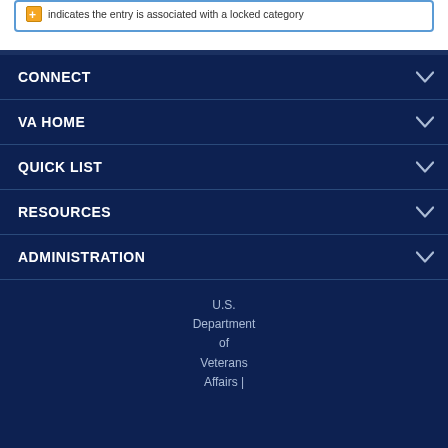indicates the entry is associated with a locked category
CONNECT
VA HOME
QUICK LIST
RESOURCES
ADMINISTRATION
U.S. Department of Veterans Affairs |